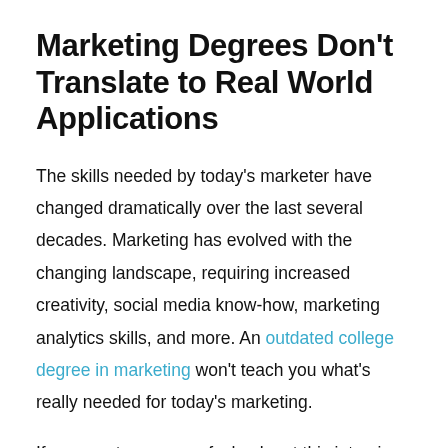Marketing Degrees Don't Translate to Real World Applications
The skills needed by today's marketer have changed dramatically over the last several decades. Marketing has evolved with the changing landscape, requiring increased creativity, social media know-how, marketing analytics skills, and more. An outdated college degree in marketing won't teach you what's really needed for today's marketing.
If you want some proof, check out this interview with one of my alumni, Davit. He is now running his own business. But when he met me, he was a marketing graduate working at a job where he was passing out flyers for a